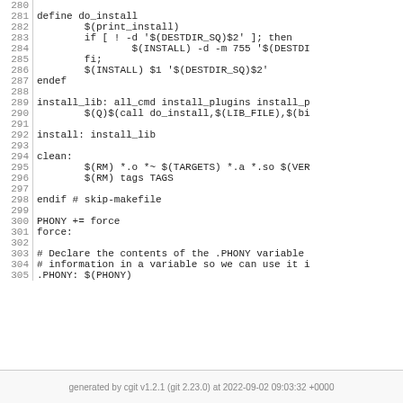[Figure (screenshot): Code listing showing Makefile lines 280-305 with line numbers on the left and code content on the right]
generated by cgit v1.2.1 (git 2.23.0) at 2022-09-02 09:03:32 +0000